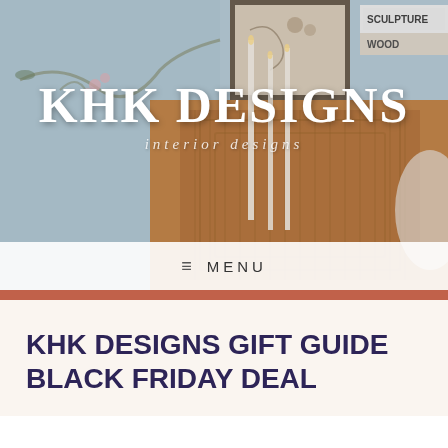[Figure (photo): Interior design hero image showing a wooden console/sideboard with candles, art prints, and books in background. Brand overlay text 'KHK DESIGNS' with subtitle 'interior designs'. Navigation bar with menu icon and MENU text at bottom.]
KHK DESIGNS GIFT GUIDE BLACK FRIDAY DEAL